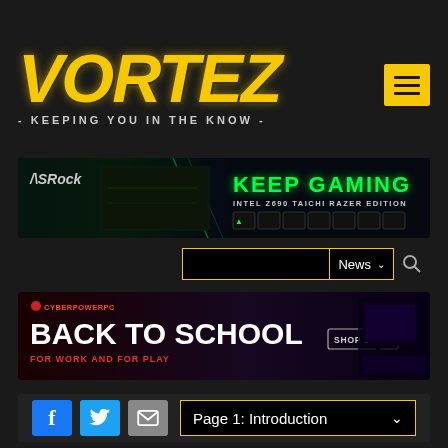[Figure (logo): Vortez logo — large italic gold text 'VORTEZ' with tagline '- KEEPING YOU IN THE KNOW -' on dark background, with yellow hamburger menu button top right]
[Figure (screenshot): ASRock banner ad: dark background with motherboard image, ASRock logo, 'KEEP GAMING' green text, 'INTEL Z690 TAICHI RAZER EDITION' text, and product badge icons]
[Figure (screenshot): Search bar with empty input field, 'News' dropdown and search icon]
[Figure (screenshot): CyberPowerPC banner: 'BACK TO SCHOOL' in large white text, 'FOR WORK AND FOR PLAY', SHOP DEALS button, gaming PC image on right]
[Figure (screenshot): Social share bar with Facebook, Twitter, email buttons and 'Page 1: Introduction' dropdown selector]